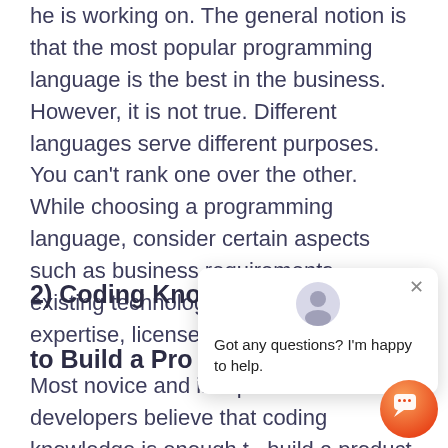he is working on. The general notion is that the most popular programming language is the best in the business. However, it is not true. Different languages serve different purposes. You can't rank one over the other. While choosing a programming language, consider certain aspects such as business requirements, existing technology stack, developers' expertise, license and usage costs etc.
2) Coding Knowledge is Not Enough to Build a Product
Most novice and inexperienced developers believe that coding knowledge is enough to build a product. While it is true that you need to learn the code to build a product, software
[Figure (screenshot): Chat popup overlay with avatar icon, close button (×), and message text: 'Got any questions? I'm happy to help.' An orange circular chat button is visible at the bottom right.]